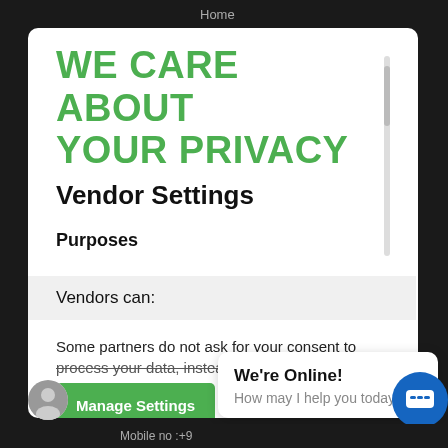Home
WE CARE ABOUT YOUR PRIVACY
Vendor Settings
Purposes
Vendors can:
Some partners do not ask for your consent to process your data, instead, they rely on their
Manage Settings
Vendors
Accept
We're Online!
How may I help you today?
Mobile no :+9